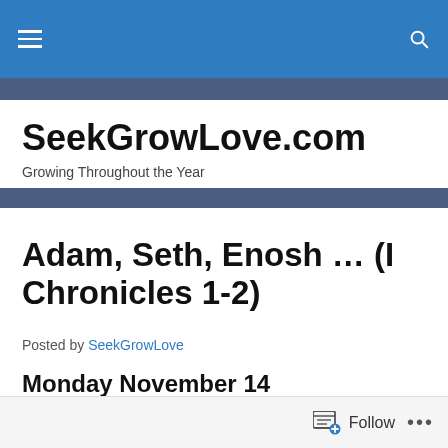SeekGrowLove.com — Growing Throughout the Year
Adam, Seth, Enosh … (I Chronicles 1-2)
Posted by SeekGrowLove
Monday November 14
Follow